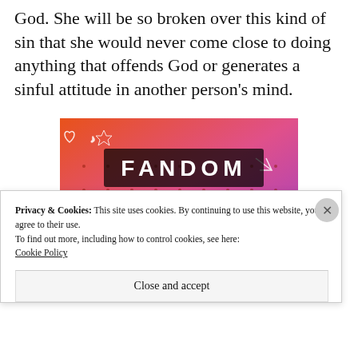God. She will be so broken over this kind of sin that she would never come close to doing anything that offends God or generates a sinful attitude in another person's mind.
[Figure (illustration): Fandom on Tumblr promotional banner image with colorful gradient background (orange to purple), doodle-style icons (skull, music notes, hearts, arrows, stars), and bold text reading 'FANDOM ON tumblr']
Privacy & Cookies: This site uses cookies. By continuing to use this website, you agree to their use.
To find out more, including how to control cookies, see here:
Cookie Policy
Close and accept